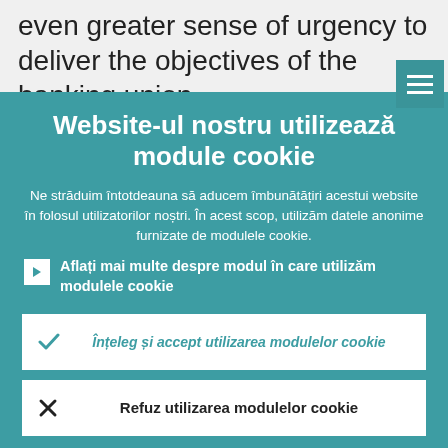even greater sense of urgency to deliver the objectives of the banking union.
[Figure (screenshot): Hamburger menu icon (three white horizontal lines) on teal background in top-right corner]
Website-ul nostru utilizează module cookie
Ne străduim întotdeauna să aducem îmbunătățiri acestui website în folosul utilizatorilor noștri. În acest scop, utilizăm datele anonime furnizate de modulele cookie.
Aflați mai multe despre modul în care utilizăm modulele cookie
Înțeleg și accept utilizarea modulelor cookie
Refuz utilizarea modulelor cookie